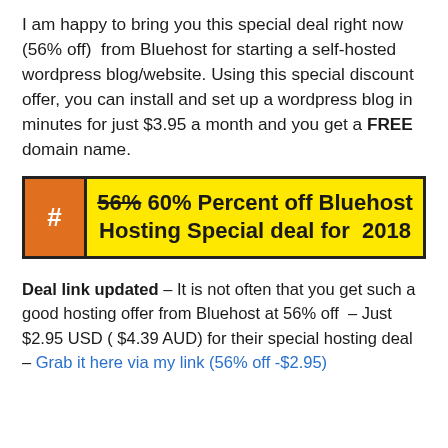I am happy to bring you this special deal right now (56% off)  from Bluehost for starting a self-hosted wordpress blog/website. Using this special discount offer, you can install and set up a wordpress blog in minutes for just $3.95 a month and you get a FREE domain name.
[Figure (infographic): Yellow banner box with orange hash symbol on the left side and bold text reading '56% 60% Percent off Bluehost Hosting Special deal for 2018', where 56% is struck through]
Deal link updated – It is not often that you get such a good hosting offer from Bluehost at 56% off  – Just $2.95 USD ( $4.39 AUD) for their special hosting deal – Grab it here via my link (56% off -$2.95)